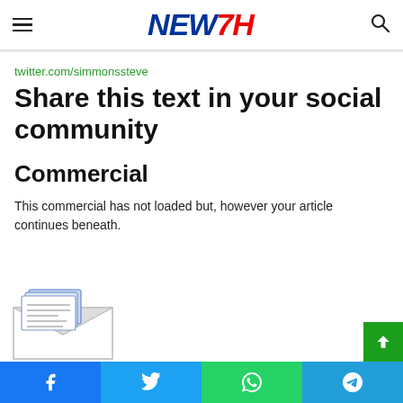NEW7H (logo)
twitter.com/simmonssteve
Share this text in your social community
Commercial
This commercial has not loaded but, however your article continues beneath.
[Figure (illustration): Envelope with letter/papers illustration]
Social share buttons: Facebook, Twitter, WhatsApp, Telegram